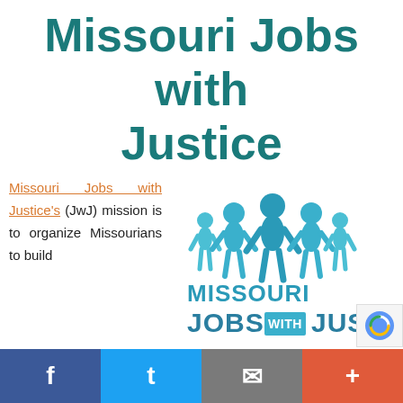Missouri Jobs with Justice
Missouri Jobs with Justice's (JwJ) mission is to organize Missourians to build transformative power for social, racial, and economic justice in our state. Jwl believes t
[Figure (logo): Missouri Jobs with Justice logo: teal silhouettes of five people standing in a row above bold text reading MISSOURI JOBS WITH JUSTICE in teal and blue]
Facebook | Twitter | Email | +